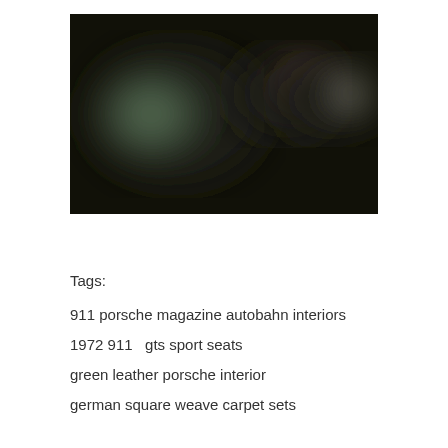[Figure (photo): A blurry, dark interior photo showing green leather seats of a Porsche, with dark background and some lighter blurred areas suggesting the interior details.]
Tags:
911 porsche magazine autobahn interiors
1972 911   gts sport seats
green leather porsche interior
german square weave carpet sets